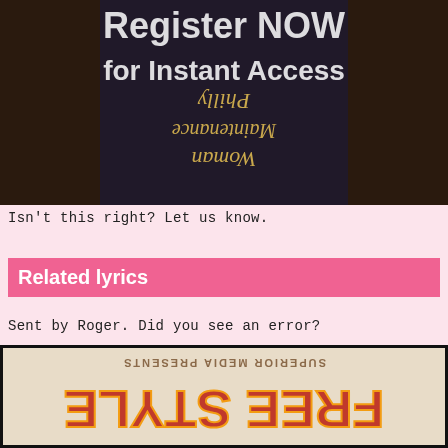[Figure (photo): Dark brown background photo showing an upside-down book cover with cursive text reading 'Philly Maintenance Woman' (inverted). Overlaid semi-transparent white text says 'Register NOW for Instant Access'.]
Isn't this right? Let us know.
Related lyrics
Sent by Roger. Did you see an error?
[Figure (photo): Photo of an album or book cover shown upside-down. Text reads 'SUPERIOR MEDIA PRESENTS' at the top (inverted) and large stylized letters in orange/red at the bottom (inverted), on a beige/cream background with a black border.]